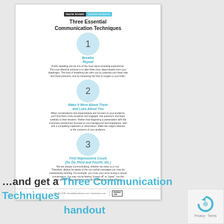[Figure (infographic): Laurie Brown Communications logo with dark background name box and light blue communications label]
Three Essential Communication Techniques
[Figure (infographic): Light blue circle with number 1 and section: Breathe Repeat with descriptive text about diaphragmatic breathing]
[Figure (infographic): Light blue circle with number 2 and section: Make It More About Them and Less About You with descriptive text]
[Figure (infographic): Light blue circle with number 3 and section: First Impressions Count (So Do Third and Fourth, etc.) with descriptive text]
248.761.7510 • laurie@lauriebrown.com • lauriabrown.com